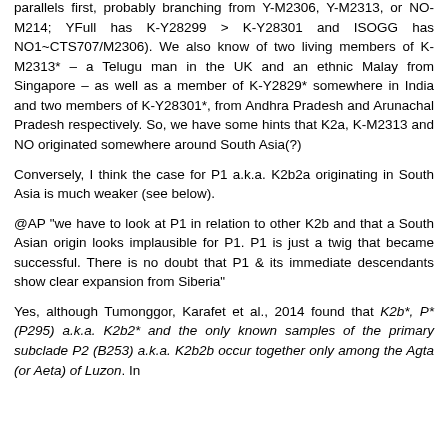parallels first, probably branching from Y-M2306, Y-M2313, or NO-M214; YFull has K-Y28299 > K-Y28301 and ISOGG has NO1~CTS707/M2306). We also know of two living members of K-M2313* – a Telugu man in the UK and an ethnic Malay from Singapore – as well as a member of K-Y2829* somewhere in India and two members of K-Y28301*, from Andhra Pradesh and Arunachal Pradesh respectively. So, we have some hints that K2a, K-M2313 and NO originated somewhere around South Asia(?)
Conversely, I think the case for P1 a.k.a. K2b2a originating in South Asia is much weaker (see below).
@AP "we have to look at P1 in relation to other K2b and that a South Asian origin looks implausible for P1. P1 is just a twig that became successful. There is no doubt that P1 & its immediate descendants show clear expansion from Siberia"
Yes, although Tumonggor, Karafet et al., 2014 found that K2b*, P* (P295) a.k.a. K2b2* and the only known samples of the primary subclade P2 (B253) a.k.a. K2b2b occur together only among the Agta (or Aeta) of Luzon. In